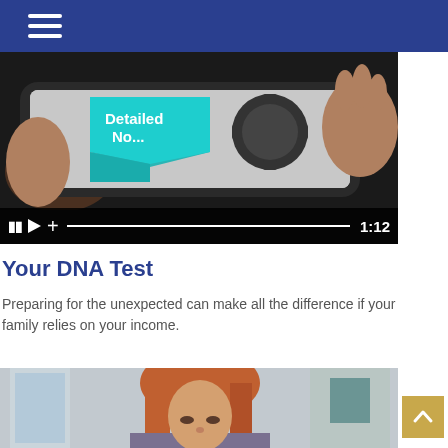Navigation bar with hamburger menu
[Figure (screenshot): Video thumbnail showing a tablet device displaying a teal ribbon badge reading 'Detailed No...' with gear icons, with video player controls showing pause, play, volume and progress bar with timestamp 1:12]
Your DNA Test
Preparing for the unexpected can make all the difference if your family relies on your income.
[Figure (photo): Photo of a woman with auburn hair looking down, presumably reviewing documents, in a home setting with windows in the background]